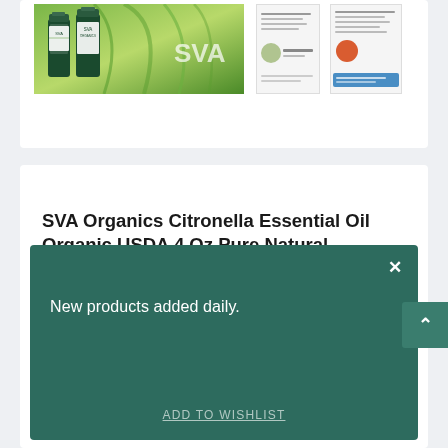[Figure (photo): Product image of SVA Organics Citronella Essential Oil bottles with green plant background, along with two smaller document/certificate thumbnail images]
SVA Organics Citronella Essential Oil Organic USDA 4 Oz Pure Natural Therapeutic Grade Oil for Skin, Body, Diffuser, Candle Making
New products added daily.